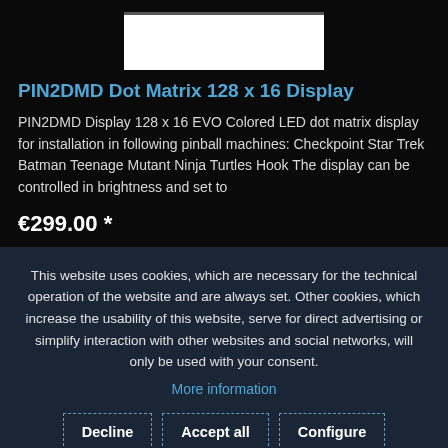[Figure (photo): Product image placeholder - white rectangle representing a display screen]
PIN2DMD Dot Matrix 128 x 16 Display
PIN2DMD Display 128 x 16 EVO Colored LED dot matrix display for installation in following pinball machines: Checkpoint Star Trek Batman Teenage Mutant Ninja Turtles Hook The display can be controlled in brightness and set to
€299.00 *
This website uses cookies, which are necessary for the technical operation of the website and are always set. Other cookies, which increase the usability of this website, serve for direct advertising or simplify interaction with other websites and social networks, will only be used with your consent.
More information
Decline | Accept all | Configure